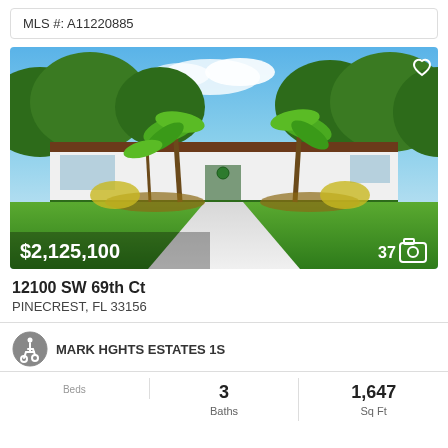MLS #: A11220885
[Figure (photo): Exterior photo of a white mid-century modern single-story home with palm trees, lush green lawn, and a concrete pathway. Price $2,125,100 shown bottom-left, 37 photos icon bottom-right, heart icon top-right.]
12100 SW 69th Ct
PINECREST, FL 33156
MARK HGHTS ESTATES 1S
3
Baths
1,647
Sq Ft